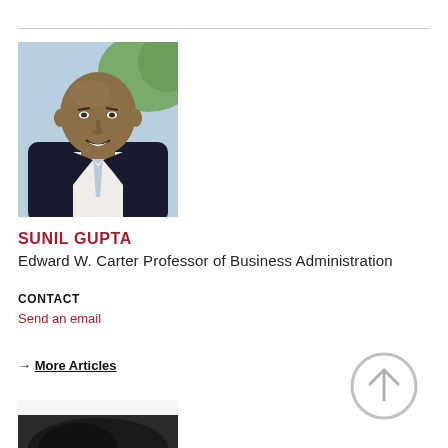[Figure (photo): Headshot of Sunil Gupta, a bald man in a dark suit and light tie, smiling, with a blurred outdoor background]
SUNIL GUPTA
Edward W. Carter Professor of Business Administration
CONTACT
Send an email
→ More Articles
[Figure (photo): Partial bottom photo, appears to show a dark-haired person, cropped at page edge]